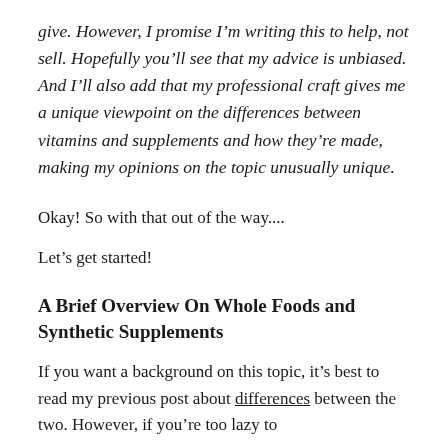give. However, I promise I'm writing this to help, not sell. Hopefully you'll see that my advice is unbiased. And I'll also add that my professional craft gives me a unique viewpoint on the differences between vitamins and supplements and how they're made, making my opinions on the topic unusually unique.
Okay! So with that out of the way....
Let's get started!
A Brief Overview On Whole Foods and Synthetic Supplements
If you want a background on this topic, it's best to read my previous post about differences between the two. However, if you're too lazy to